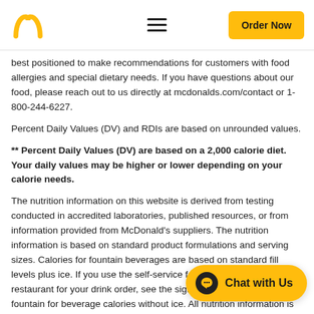McDonald's header with logo, hamburger menu, and Order Now button
best positioned to make recommendations for customers with food allergies and special dietary needs. If you have questions about our food, please reach out to us directly at mcdonalds.com/contact or 1-800-244-6227.
Percent Daily Values (DV) and RDIs are based on unrounded values.
** Percent Daily Values (DV) are based on a 2,000 calorie diet. Your daily values may be higher or lower depending on your calorie needs.
The nutrition information on this website is derived from testing conducted in accredited laboratories, published resources, or from information provided from McDonald's suppliers. The nutrition information is based on standard product formulations and serving sizes. Calories for fountain beverages are based on standard fill levels plus ice. If you use the self-service fountain inside the restaurant for your drink order, see the sign posted at the beverage fountain for beverage calories without ice. All nutrition information is based on average values for ingredients and is rounded in accordance with current U.S. FDA NLEA regulations. Variation in serving sizes, preparation techniques, product testing and sources of supply, as well as regional and seasonal differences may affect the nutrition values for e product formulations change periodically. Yo in the nutrient content of the products purcha Beverage sizes may vary in your market. McDo claim any of its US menu items as Halal, Kosher or meeting any other